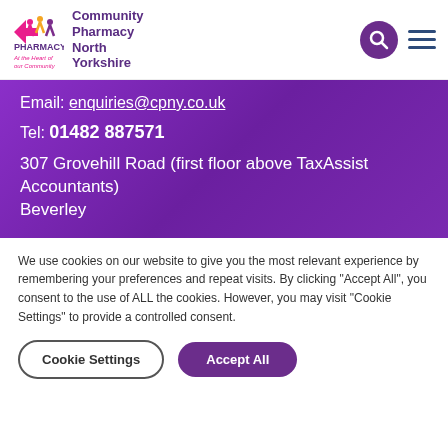[Figure (logo): Community Pharmacy North Yorkshire logo with pharmacy icon and text]
Email: enquiries@cpny.co.uk
Tel: 01482 887571
307 Grovehill Road (first floor above TaxAssist Accountants)
Beverley
We use cookies on our website to give you the most relevant experience by remembering your preferences and repeat visits. By clicking “Accept All”, you consent to the use of ALL the cookies. However, you may visit “Cookie Settings” to provide a controlled consent.
Cookie Settings
Accept All